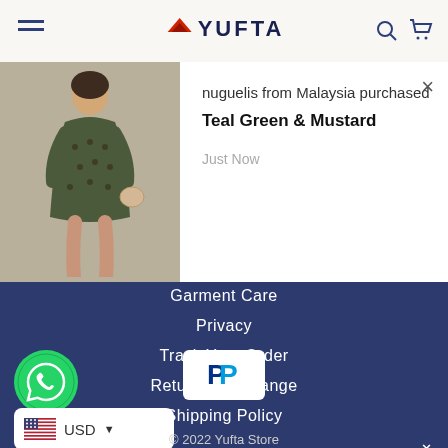YUFTA
[Figure (screenshot): Purchase notification popup showing a woman in a teal/mustard patterned dress. Text: nuguelis from Malaysia purchased Teal Green & Mustard, Just Now. Close button (×) top right.]
Garment Care
Privacy
Track Your Order
Return & Exchange
Shipping Policy
[Figure (logo): WhatsApp green circle icon]
[Figure (logo): PayPal white box with blue P logo]
USD ▼
© 2022 Yufta Store